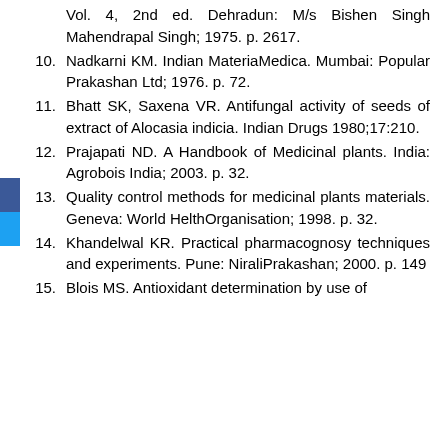Vol. 4, 2nd ed. Dehradun: M/s Bishen Singh Mahendrapal Singh; 1975. p. 2617.
10. Nadkarni KM. Indian MateriaMedica. Mumbai: Popular Prakashan Ltd; 1976. p. 72.
11. Bhatt SK, Saxena VR. Antifungal activity of seeds of extract of Alocasia indicia. Indian Drugs 1980;17:210.
12. Prajapati ND. A Handbook of Medicinal plants. India: Agrobois India; 2003. p. 32.
13. Quality control methods for medicinal plants materials. Geneva: World HelthOrganisation; 1998. p. 32.
14. Khandelwal KR. Practical pharmacognosy techniques and experiments. Pune: NiraliPrakashan; 2000. p. 149
15. Blois MS. Antioxidant determination by use of…